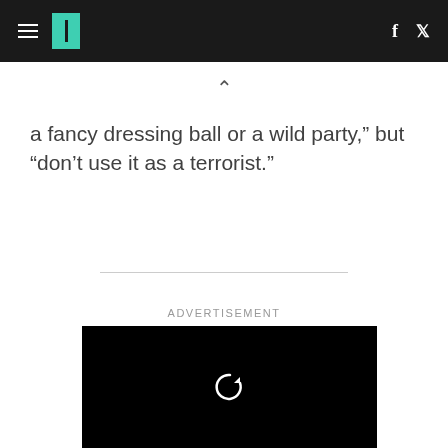HuffPost navigation with hamburger menu, logo, Facebook and Twitter icons
a fancy dressing ball or a wild party,” but “don’t use it as a terrorist.”
ADVERTISEMENT
[Figure (other): Black advertisement video player box with a replay/refresh icon in the center]